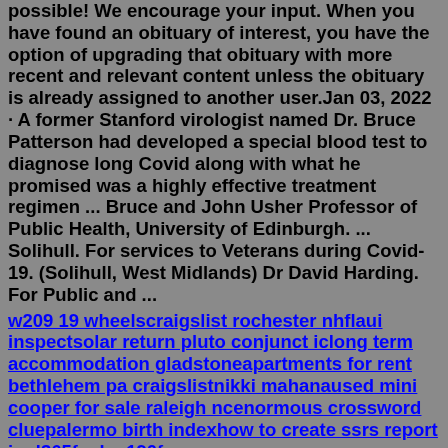possible! We encourage your input. When you have found an obituary of interest, you have the option of upgrading that obituary with more recent and relevant content unless the obituary is already assigned to another user.Jan 03, 2022 · A former Stanford virologist named Dr. Bruce Patterson had developed a special blood test to diagnose long Covid along with what he promised was a highly effective treatment regimen ... Bruce and John Usher Professor of Public Health, University of Edinburgh. ... Solihull. For services to Veterans during Covid-19. (Solihull, West Midlands) Dr David Harding. For Public and ...
w209 19 wheelscraigslist rochester nhflaui inspectsolar return pluto conjunct iclong term accommodation gladstoneapartments for rent bethlehem pa craigslistnikki mahanaused mini cooper for sale raleigh ncenormous crossword cluepalermo birth indexhow to create ssrs report in d365fosbs 190f xo